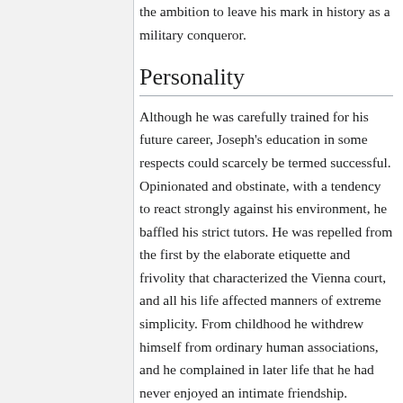the ambition to leave his mark in history as a military conqueror.
Personality
Although he was carefully trained for his future career, Joseph's education in some respects could scarcely be termed successful. Opinionated and obstinate, with a tendency to react strongly against his environment, he baffled his strict tutors. He was repelled from the first by the elaborate etiquette and frivolity that characterized the Vienna court, and all his life affected manners of extreme simplicity. From childhood he withdrew himself from ordinary human associations, and he complained in later life that he had never enjoyed an intimate friendship.
All his interests were of a pragmatic and